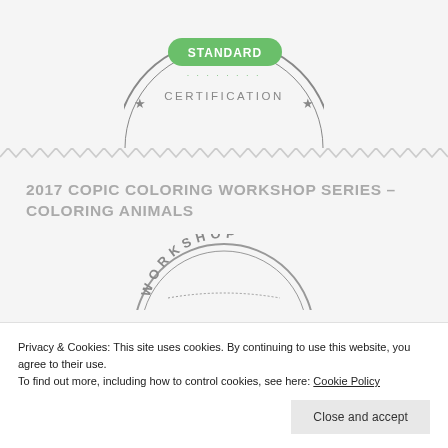[Figure (logo): Partial view of a circular certification badge with 'STANDARD CERTIFICATION' text and star decorations, in gray and green colors]
2017 COPIC COLORING WORKSHOP SERIES – COLORING ANIMALS
[Figure (logo): Copic Workshop circular seal/badge in gray, featuring 'WORKSHOP' text at top arc, 'COPIC' large text in center with a blue-dotted semicircle graphic]
Privacy & Cookies: This site uses cookies. By continuing to use this website, you agree to their use.
To find out more, including how to control cookies, see here: Cookie Policy
Close and accept